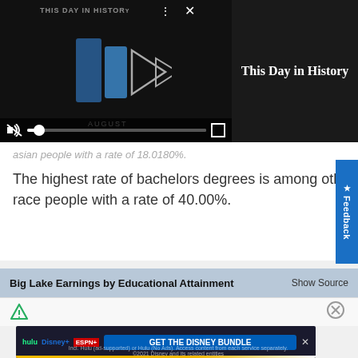[Figure (screenshot): Embedded video player showing 'This Day in History' with August theme, play button, mute icon, progress bar, and fullscreen controls on dark background]
This Day in History
asian people with a rate of 18.0180%
The highest rate of bachelors degrees is among other race people with a rate of 40.00%.
Big Lake Earnings by Educational Attainment
Show Source
[Figure (screenshot): Bottom chart area with filter icon and close button, partially visible]
[Figure (screenshot): Advertisement banner for Disney Bundle featuring Hulu, Disney+, ESPN+ logos with GET THE DISNEY BUNDLE CTA button]